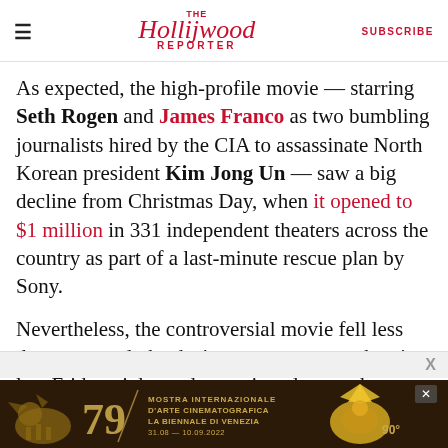The Hollywood Reporter | SUBSCRIBE
As expected, the high-profile movie — starring Seth Rogen and James Franco as two bumbling journalists hired by the CIA to assassinate North Korean president Kim Jong Un — saw a big decline from Christmas Day, when it opened to $1 million in 331 independent theaters across the country as part of a last-minute rescue plan by Sony.
Nevertheless, the controversial movie fell less than expected, thanks in part to a strong showing late Friday night, and a continued sense that seeing the movie equates to patriotism.
[Figure (other): Advertisement banner for Mostra Internazionale D'Arte Cinematografica La Biennale di Venezia 79, 31.08-10.09.2022, with a golden phoenix/bird graphic and '90°' anniversary marking, on a dark brown background.]